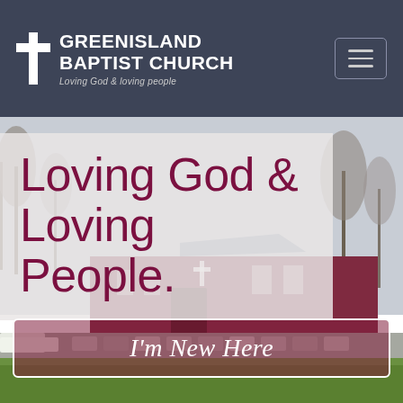[Figure (logo): Greenisland Baptist Church logo with white cross icon and text 'GREENISLAND BAPTIST CHURCH' and tagline 'Loving God & loving people' on dark slate background with hamburger menu button]
[Figure (photo): Hero section showing church building exterior with bare trees in winter, overcast sky, red/maroon church building visible, green grass in foreground]
Loving God & Loving People.
I'm New Here